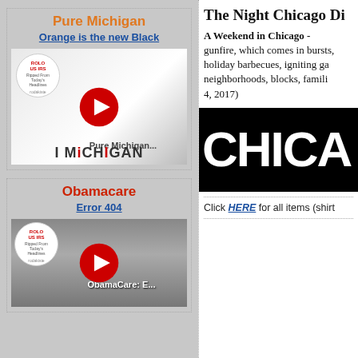Pure Michigan
Orange is the new Black
[Figure (screenshot): YouTube video thumbnail for 'Pure Michigan...' showing a white mug with MICHIGAN text and a red YouTube play button overlay]
Obamacare
Error 404
[Figure (screenshot): YouTube video thumbnail for 'ObamaCare: E...' showing smoke/fire imagery with YouTube play button]
The Night Chicago Di
A Weekend in Chicago - gunfire, which comes in bursts, holiday barbecues, igniting ga neighborhoods, blocks, famili 4, 2017)
[Figure (photo): Black background image with large white bold text reading CHICA (Chicago)]
Click HERE for all items (shirt